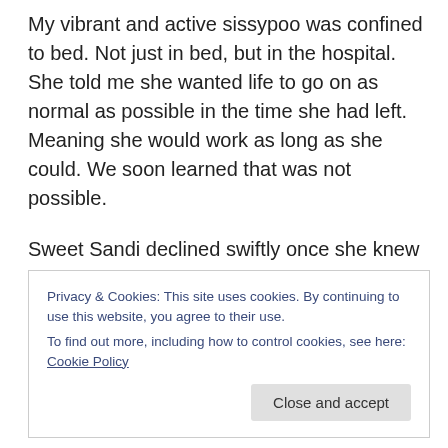My vibrant and active sissypoo was confined to bed. Not just in bed, but in the hospital. She told me she wanted life to go on as normal as possible in the time she had left. Meaning she would work as long as she could. We soon learned that was not possible.
Sweet Sandi declined swiftly once she knew that life-as-she-knew-it, was over. Her oldest son, Timothy, was by her side this whole time with such tender and loving care, and her other son was on his way from Kentucky. As I held her hand and looked into her eyes, I cried and told her “I don’t
Privacy & Cookies: This site uses cookies. By continuing to use this website, you agree to their use.
To find out more, including how to control cookies, see here: Cookie Policy